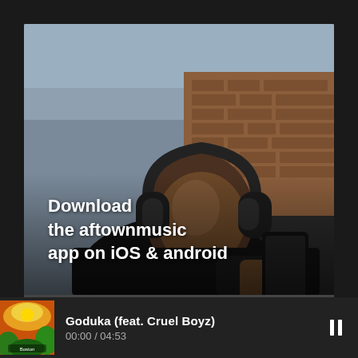[Figure (photo): Young man wearing black over-ear headphones and black hoodie, looking down at a smartphone he is holding. Background shows a brick wall and dark wooden fence. Photo has a dark, moody tone.]
Download the aftownmusic app on iOS & android
[Figure (screenshot): Now-playing bar at bottom showing album art thumbnail with colorful orange/green artwork, track title 'Goduka (feat. Cruel Boyz)', time '00:00 / 04:53', and a pause button (two vertical bars) on the right.]
Goduka (feat. Cruel Boyz)
00:00 / 04:53